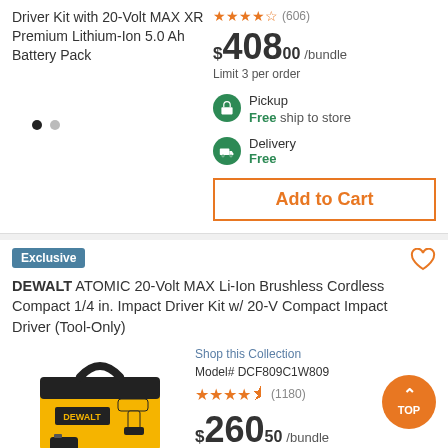Driver Kit with 20-Volt MAX XR Premium Lithium-Ion 5.0 Ah Battery Pack
$408.00 /bundle
Limit 3 per order
Pickup
Free ship to store
Delivery
Free
Add to Cart
Exclusive
DEWALT ATOMIC 20-Volt MAX Li-Ion Brushless Cordless Compact 1/4 in. Impact Driver Kit w/ 20-V Compact Impact Driver (Tool-Only)
[Figure (photo): DEWALT yellow and black tool bag with impact driver]
Shop this Collection
Model# DCF809C1W809
(1180)
$260.50 /bundle
Limit 5 per order